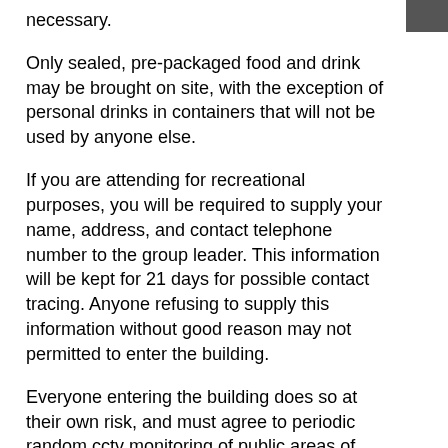necessary.
Only sealed, pre-packaged food and drink may be brought on site, with the exception of personal drinks in containers that will not be used by anyone else.
If you are attending for recreational purposes, you will be required to supply your name, address, and contact telephone number to the group leader. This information will be kept for 21 days for possible contact tracing. Anyone refusing to supply this information without good reason may not permitted to enter the building.
Everyone entering the building does so at their own risk, and must agree to periodic random cctv monitoring of public areas of the building to ensure safe practices are in place.